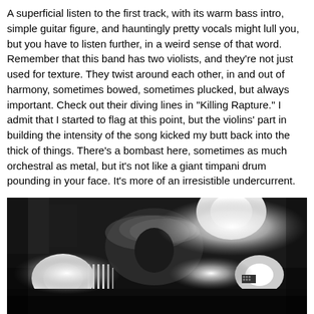A superficial listen to the first track, with its warm bass intro, simple guitar figure, and hauntingly pretty vocals might lull you, but you have to listen further, in a weird sense of that word. Remember that this band has two violists, and they're not just used for texture. They twist around each other, in and out of harmony, sometimes bowed, sometimes plucked, but always important. Check out their diving lines in "Killing Rapture." I admit that I started to flag at this point, but the violins' part in building the intensity of the song kicked my butt back into the thick of things. There's a bombast here, sometimes as much orchestral as metal, but it's not like a giant timpani drum pounding in your face. It's more of an irresistible undercurrent.
[Figure (photo): Black and white concert photo showing a performer on stage with bright stage lights, musical equipment visible in the background, and motion blur on the performer's hair.]